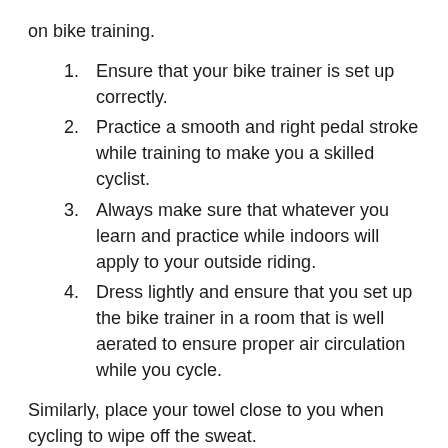on bike training.
Ensure that your bike trainer is set up correctly.
Practice a smooth and right pedal stroke while training to make you a skilled cyclist.
Always make sure that whatever you learn and practice while indoors will apply to your outside riding.
Dress lightly and ensure that you set up the bike trainer in a room that is well aerated to ensure proper air circulation while you cycle.
Similarly, place your towel close to you when cycling to wipe off the sweat.